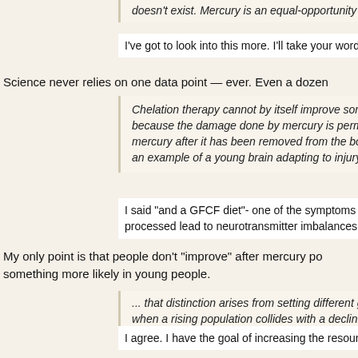doesn't exist. Mercury is an equal-opportunity killer
I've got to look into this more. I'll take your word for it for now
Science never relies on one data point — ever. Even a dozen
Chelation therapy cannot by itself improve someone's because the damage done by mercury is permanent. mercury after it has been removed from the body, giv an example of a young brain adapting to injury by sh
I said "and a GFCF diet"- one of the symptoms of mercury p processed lead to neurotransmitter imbalances.
My only point is that people don't "improve" after mercury po something more likely in young people.
... that distinction arises from setting different goals, n when a rising population collides with a declining reso
I agree. I have the goal of increasing the resource base by s unsure as to your goal.
That's because I am unsure of my goal. I would like to see m opposition to that. In the extreme it erases any distinction be
But what if, as permaculture research that I linked to in my s larger than we think it is, and with proper application of suc